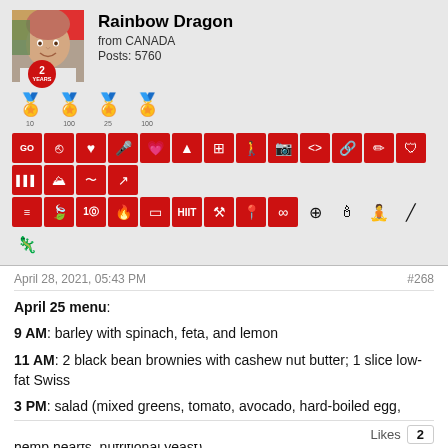[Figure (photo): User profile photo of Rainbow Dragon, a person with colorful hair, square avatar with a red badge showing '2 YEARS']
Rainbow Dragon
from CANADA
Posts: 5760
[Figure (infographic): Row of achievement badge icons (laurel wreath badges with numbers 10, 100, 25, 100)]
[Figure (infographic): Two rows of red icon boxes representing various fitness/activity features: GO, share, heart, microphone, heart-hands, bell, grid, person, camera, code, link, pencil, shield, barcode, mountain, pulse, external-link, bars, leaf, 10-circle, fire, square, HIIT, tools, location, infinity, female, flame, meditation, diagonal, snake/fitness icons]
April 28, 2021, 05:43 PM
#268
April 25 menu: 
9 AM: barley with spinach, feta, and lemon
11 AM: 2 black bean brownies with cashew nut butter; 1 slice low-fat Swiss
3 PM: salad (mixed greens, tomato, avocado, hard-boiled egg, pecans, dried apricots, sunflower seeds, no-fat Greek yogourt, hemp hearts, nutritional yeast)
9 PM: baked eggs; 2 black bean brownies with cashew nut butter
Likes  2